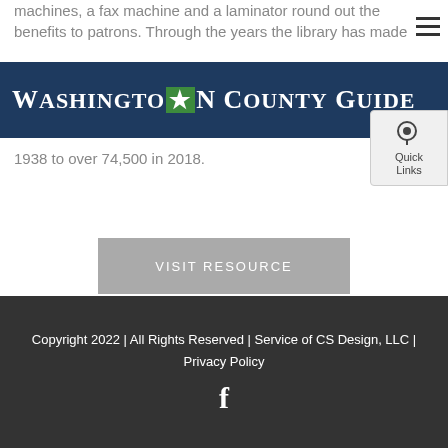machines, a fax machine and a laminator round out the benefits to patrons. Through the years the library has made
[Figure (logo): Washington County Guide logo with green Missouri state icon on dark navy banner]
1938 to over 74,500 in 2018.
VISIT RESOURCE
VISIT WEBSITE
Copyright 2022 | All Rights Reserved | Service of CS Design, LLC | Privacy Policy